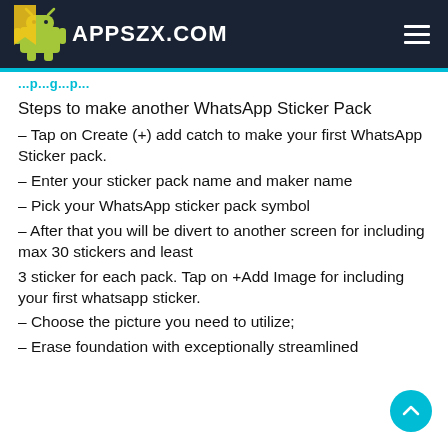APPSZX.COM
Steps to make another WhatsApp Sticker Pack
– Tap on Create (+) add catch to make your first WhatsApp Sticker pack.
– Enter your sticker pack name and maker name
– Pick your WhatsApp sticker pack symbol
– After that you will be divert to another screen for including max 30 stickers and least
3 sticker for each pack. Tap on +Add Image for including your first whatsapp sticker.
– Choose the picture you need to utilize;
– Erase foundation with exceptionally streamlined